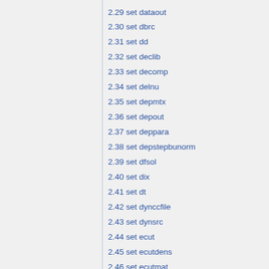2.29 set dataout
2.30 set dbrc
2.31 set dd
2.32 set declib
2.33 set decomp
2.34 set delnu
2.35 set depmtx
2.36 set depout
2.37 set deppara
2.38 set depstepbunorm
2.39 set dfsol
2.40 set dix
2.41 set dt
2.42 set dynccfile
2.43 set dynsrc
2.44 set ecut
2.45 set ecutdens
2.46 set ecutmat
2.47 set eddi
2.48 set edepdel